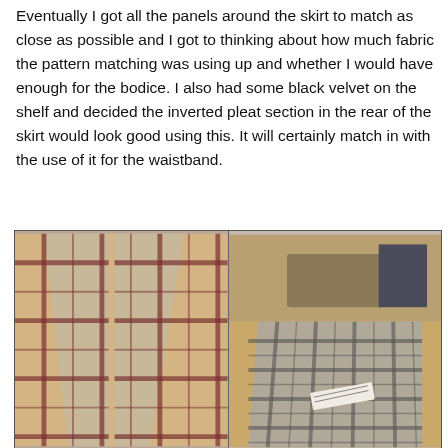Eventually I got all the panels around the skirt to match as close as possible and I got to thinking about how much fabric the pattern matching was using up and whether I would have enough for the bodice. I also had some black velvet on the shelf and decided the inverted pleat section in the rear of the skirt would look good using this. It will certainly match in with the use of it for the waistband.
[Figure (photo): Two side-by-side photos of plaid/tartan fabric panels laid out on a light wooden floor. Left photo shows two pointed fabric panels with a beige and dark red/maroon plaid pattern. Right photo shows similar plaid fabric panels with a grey and dark pattern, with a paper label visible on the fabric.]